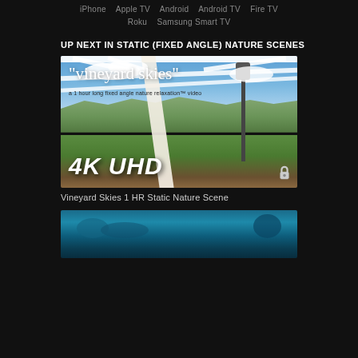iPhone   Apple TV   Android   Android TV   Fire TV
Roku   Samsung Smart TV
UP NEXT IN STATIC (FIXED ANGLE) NATURE SCENES
[Figure (photo): Video thumbnail for 'Vineyard Skies' - shows a vineyard landscape with mountains in background viewed through a white pergola structure with text '"vineyard skies"', subtitle 'a 1 hour long fixed angle nature relaxation™ video', '4K UHD' label in bottom left, and a lock icon in bottom right]
Vineyard Skies 1 HR Static Nature Scene
[Figure (photo): Video thumbnail partially visible at the bottom - appears to show an underwater or aquatic scene with dark and teal/blue colors]